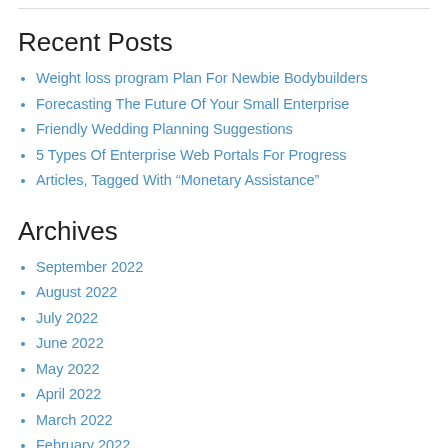Recent Posts
Weight loss program Plan For Newbie Bodybuilders
Forecasting The Future Of Your Small Enterprise
Friendly Wedding Planning Suggestions
5 Types Of Enterprise Web Portals For Progress
Articles, Tagged With “Monetary Assistance”
Archives
September 2022
August 2022
July 2022
June 2022
May 2022
April 2022
March 2022
February 2022
January 2022
December 2021